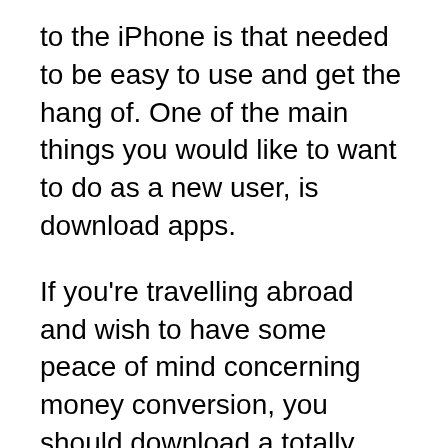to the iPhone is that needed to be easy to use and get the hang of. One of the main things you would like to want to do as a new user, is download apps.
If you're travelling abroad and wish to have some peace of mind concerning money conversion, you should download a totally free currency request. Why download just a random currency app indicates can download the better of the best- for unfastened?!? This Android app, in Pocketools, offers you incredibly simple currency calculator within a very basic user gui. However, if you desire more currency information, this app can get done that too: you can view currency trends over a 5 year period, graph any currency against any